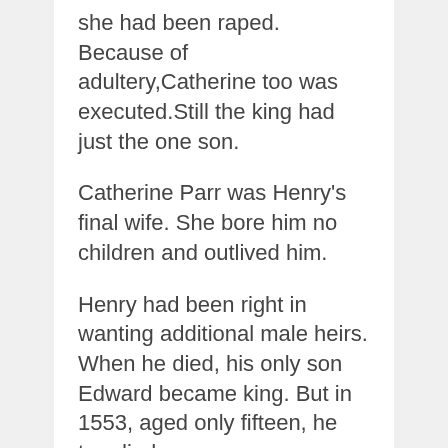she had been raped. Because of adultery,Catherine too was executed.Still the king had just the one son.
Catherine Parr was Henry's final wife. She bore him no children and outlived him.
Henry had been right in wanting additional male heirs. When he died, his only son Edward became king. But in 1553, aged only fifteen, he too died.
The throne of England was now in female hands.